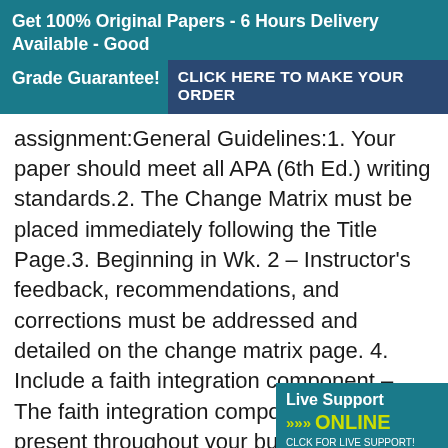Get 100% Original Papers - 6 Hours Delivery Available - Good Grade Guarantee! CLICK HERE TO MAKE YOUR ORDER
assignment:General Guidelines:1. Your paper should meet all APA (6th Ed.) writing standards.2. The Change Matrix must be placed immediately following the Title Page.3. Beginning in Wk. 2 – Instructor's feedback, recommendations, and corrections must be addressed and detailed on the change matrix page. 4. Include a faith integration component – The faith integration component should be present throughout your business plan (e.g., not just a paragraph or mention of faith at the end of each section). In other words, how does your faith or wo influence your firm? Specific to th